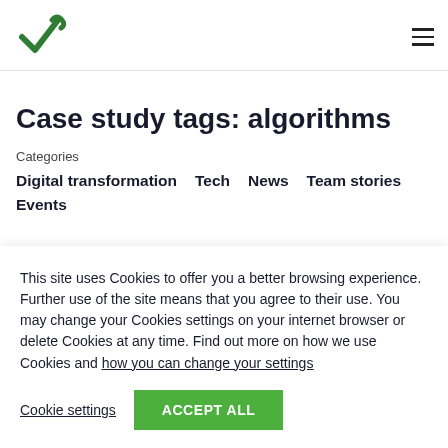[Logo] [Hamburger menu]
Case study tags: algorithms
Categories
Digital transformation  Tech  News  Team stories  Events
This site uses Cookies to offer you a better browsing experience. Further use of the site means that you agree to their use. You may change your Cookies settings on your internet browser or delete Cookies at any time. Find out more on how we use Cookies and how you can change your settings
Cookie settings | ACCEPT ALL